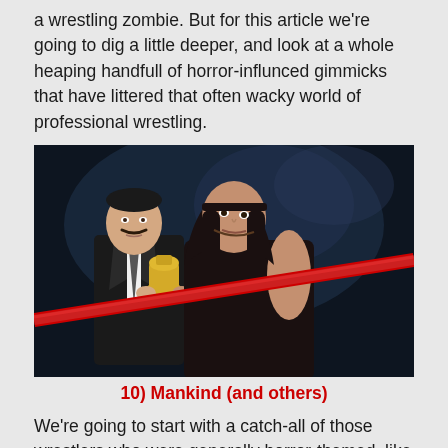a wrestling zombie. But for this article we're going to dig a little deeper, and look at a whole heaping handfull of horror-influnced gimmicks that have littered that often wacky world of professional wrestling.
[Figure (photo): Two professional wrestlers posing together at a wrestling ring. One is a shorter man in a suit holding a golden trophy/urn, with a mustache and dark hair. The other is a large man with long dark hair, wearing dark clothing, leaning in close. A red rope from the wrestling ring is visible across the image.]
10) Mankind (and others)
We're going to start with a catch-all of those wrestlers who were generally horror-themed, like the aforementioned Undertaker, and his “big red machine” brother Kane, the wrestling vampire Gangrel, The Yeti (who was dressed as a giant mummy for some reason),